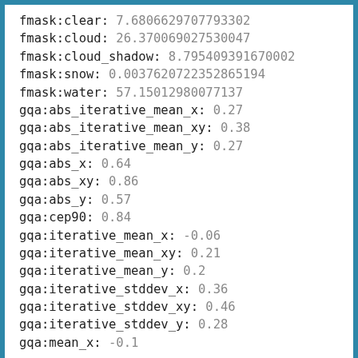fmask:clear: 7.6806629707793302
fmask:cloud: 26.370069027530047
fmask:cloud_shadow: 8.795409391670002
fmask:snow: 0.0037620722352865194
fmask:water: 57.15012980077137
gqa:abs_iterative_mean_x: 0.27
gqa:abs_iterative_mean_xy: 0.38
gqa:abs_iterative_mean_y: 0.27
gqa:abs_x: 0.64
gqa:abs_xy: 0.86
gqa:abs_y: 0.57
gqa:cep90: 0.84
gqa:iterative_mean_x: -0.06
gqa:iterative_mean_xy: 0.21
gqa:iterative_mean_y: 0.2
gqa:iterative_stddev_x: 0.36
gqa:iterative_stddev_xy: 0.46
gqa:iterative_stddev_y: 0.28
gqa:mean_x: -0.1